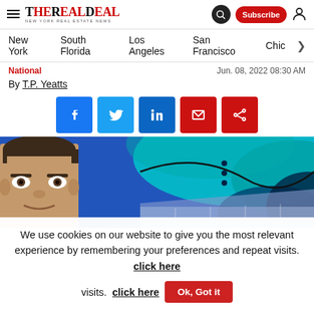The Real Deal — New York Real Estate News
New York  South Florida  Los Angeles  San Francisco  Chic
National  Jun. 08, 2022 08:30 AM
By T.P. Yeatts
[Figure (infographic): Social share buttons: Facebook, Twitter, LinkedIn, Email, Share]
[Figure (photo): Photo of a man's face against an abstract blue and teal illustrated background]
We use cookies on our website to give you the most relevant experience by remembering your preferences and repeat visits. click here  Ok, Got it